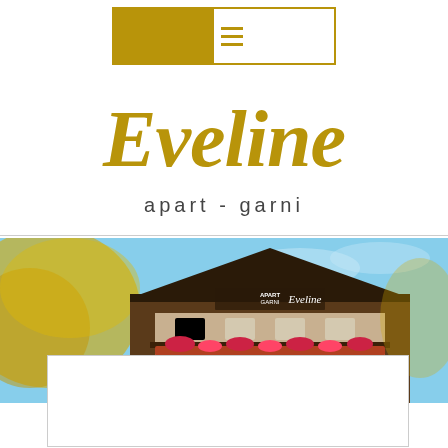[Figure (logo): Navigation header bar with gold/tan filled rectangle and hamburger menu icon (three horizontal lines) in gold, bordered by a thin gold rectangle on white background]
Eveline apart - garni
[Figure (photo): Exterior photograph of Apart Garni Eveline, an Alpine-style building with dark wood facade, signage reading 'APART GARNI Eveline', decorated with flower boxes on balconies, set against a blue sky with blurred golden foliage in foreground]
[Figure (other): White rectangle overlay partially covering the bottom portion of the building photo]